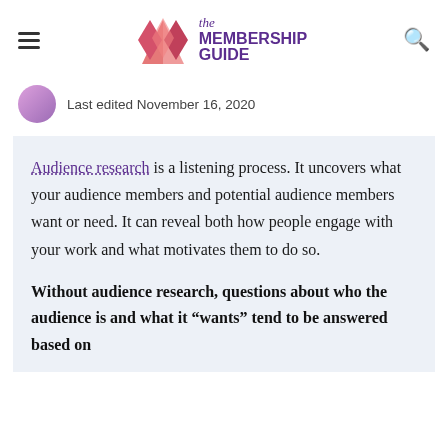the MEMBERSHIP GUIDE
Last edited November 16, 2020
Audience research is a listening process. It uncovers what your audience members and potential audience members want or need. It can reveal both how people engage with your work and what motivates them to do so.
Without audience research, questions about who the audience is and what it “wants” tend to be answered based on